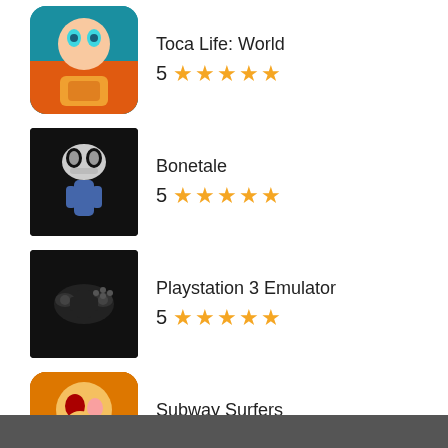Toca Life: World, rating: 5 stars
Bonetale, rating: 5 stars
Playstation 3 Emulator, rating: 5 stars
Subway Surfers, rating: 0 stars
SAKURA School Simulator, rating: 4 stars